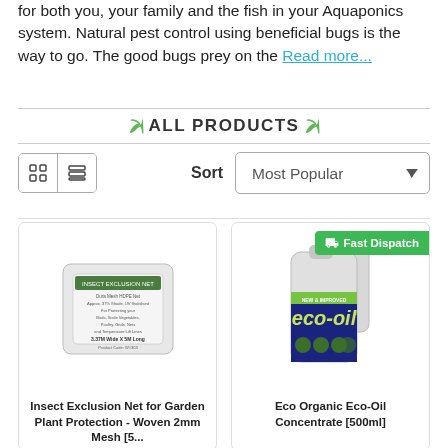for both you, your family and the fish in your Aquaponics system. Natural pest control using beneficial bugs is the way to go. The good bugs prey on the Read more...
ALL PRODUCTS
Sort  Most Popular
[Figure (photo): Insect Exclusion Net packaged product]
Insect Exclusion Net for Garden Plant Protection - Woven 2mm Mesh [5...
[Figure (photo): Eco Organic Eco-Oil Concentrate bottle 500ml with Fast Dispatch badge]
Eco Organic Eco-Oil Concentrate [500ml]